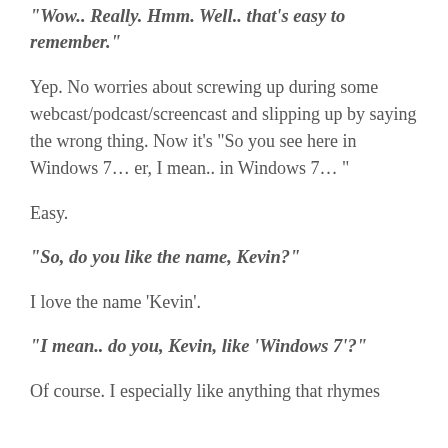“Wow..  Really.  Hmm.  Well..  that’s easy to remember.”
Yep.  No worries about screwing up during some webcast/podcast/screencast and slipping up by saying the wrong thing.  Now it’s “So you see here in Windows 7… er, I mean.. in Windows 7… "
Easy.
“So, do you like the name, Kevin?”
I love the name ‘Kevin’.
“I mean.. do you, Kevin, like ‘Windows 7’?”
Of course.  I especially like anything that rhymes